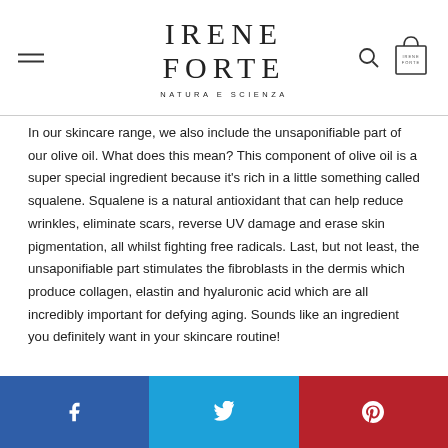IRENE FORTE NATURA E SCIENZA
In our skincare range, we also include the unsaponifiable part of our olive oil. What does this mean? This component of olive oil is a super special ingredient because it's rich in a little something called squalene. Squalene is a natural antioxidant that can help reduce wrinkles, eliminate scars, reverse UV damage and erase skin pigmentation, all whilst fighting free radicals. Last, but not least, the unsaponifiable part stimulates the fibroblasts in the dermis which produce collagen, elastin and hyaluronic acid which are all incredibly important for defying aging. Sounds like an ingredient you definitely want in your skincare routine!
[Figure (other): Social media share buttons: Facebook (blue), Twitter (light blue), Pinterest (red)]